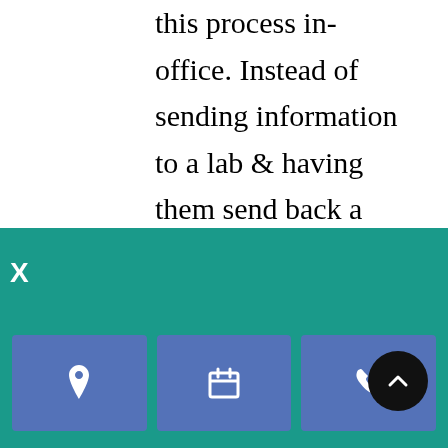this process in-office. Instead of sending information to a lab & having them send back a custom crown, computerized scanner & computer-controlled milling machines located right in the office can carry out this process. The use of this state-of-the-art technology means that dental crowns can be created & placed in your mouth much faster than
[Figure (screenshot): Teal navigation bar with X label and three blue icon buttons (location pin, calendar, phone) plus a dark circular scroll-to-top button]